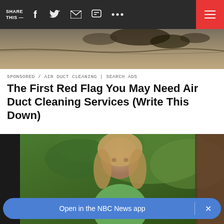SHARE THIS —
[Figure (screenshot): Top navigation bar with share label, social media icons (Facebook, Twitter, email, chat, more), and red hamburger menu button on dark background]
[Figure (photo): Cracked wall or weathered surface texture photo in muted tan and grey tones]
SPONSORED / AIR DUCT CLEANING | SEARCH ADS
The First Red Flag You May Need Air Duct Cleaning Services (Write This Down)
[Figure (photo): Woman with long blonde wavy hair standing outdoors near greenery and a dark doorway, wearing a green top]
Open in the NBC News app